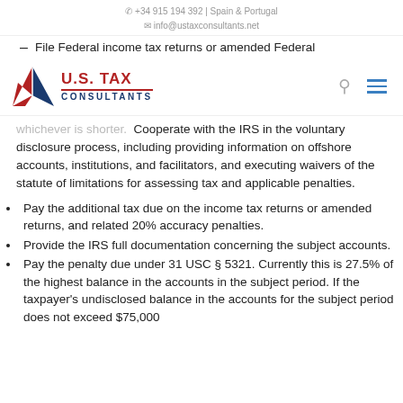📞 +34 915 194 392 | Spain & Portugal
✉ info@ustaxconsultants.net
[Figure (logo): U.S. Tax Consultants logo with star graphic, search icon, and hamburger menu]
whichever is shorter.  Cooperate with the IRS in the voluntary disclosure process, including providing information on offshore accounts, institutions, and facilitators, and executing waivers of the statute of limitations for assessing tax and applicable penalties.
Pay the additional tax due on the income tax returns or amended returns, and related 20% accuracy penalties.
Provide the IRS full documentation concerning the subject accounts.
Pay the penalty due under 31 USC § 5321. Currently this is 27.5% of the highest balance in the accounts in the subject period. If the taxpayer's undisclosed balance in the accounts for the subject period does not exceed $75,000